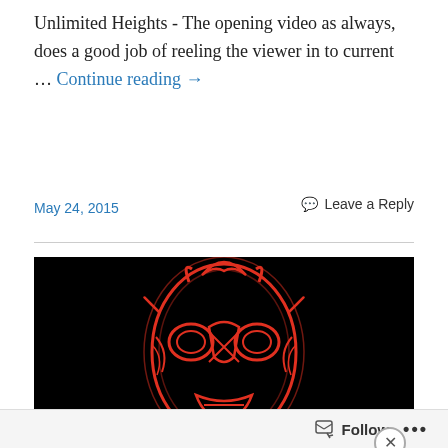Unlimited Heights - The opening video as always, does a good job of reeling the viewer in to current … Continue reading →
May 24, 2015
Leave a Reply
[Figure (illustration): Black background with a red outlined luchador mask illustration centered on the image.]
Advertisements
[Figure (infographic): DuckDuckGo advertisement banner with orange background. Text reads: Search, browse, and email with more privacy. Shows a smartphone with DuckDuckGo logo.]
Follow